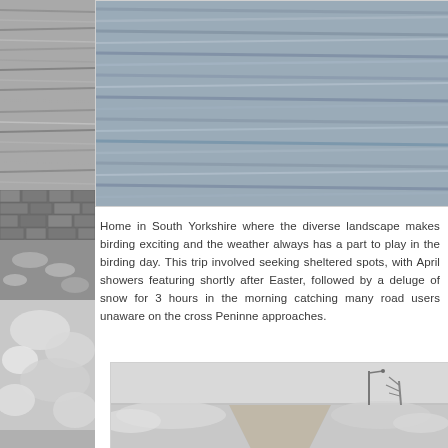[Figure (photo): Left strip of black and white photographs showing water/sea, stone wall, and snowy ground]
[Figure (photo): Black and white photograph of choppy water/sea surface, top right of page]
Home in South Yorkshire where the diverse landscape makes birding exciting and the weather always has a part to play in the birding day. This trip involved seeking sheltered spots, with April showers featuring shortly after Easter, followed by a deluge of snow for 3 hours in the morning catching many road users unaware on the cross Peninne approaches.
[Figure (photo): Black and white photograph of a snowy road through moorland with lamp post and bare trees]